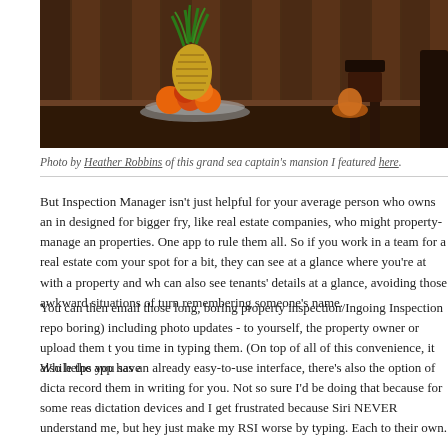[Figure (photo): Interior photo of a grand sea captain's mansion showing a dark wooden dining room with a fruit bowl containing a pineapple and other fruits on a polished table, with wooden chairs and cabinet in the background.]
Photo by Heather Robbins of this grand sea captain's mansion I featured here.
But Inspection Manager isn't just helpful for your average person who owns an in designed for bigger fry, like real estate companies, who might property-manage an properties. One app to rule them all. So if you work in a team for a real estate com your spot for a bit, they can see at a glance where you're at with a property and wh can also see tenants' details at a glance, avoiding those awkward situations of turn remembering someone's name.
You can then email those long, boring property inspection/Ingoing Inspection repo boring) including photo updates - to yourself, the property owner or upload them t you time in typing them. (On top of all of this convenience, it also helps you save
While the app has an already easy-to-use interface, there's also the option of dicta record them in writing for you. Not so sure I'd be doing that because for some reas dictation devices and I get frustrated because Siri NEVER understand me, but hey just make my RSI worse by typing. Each to their own.